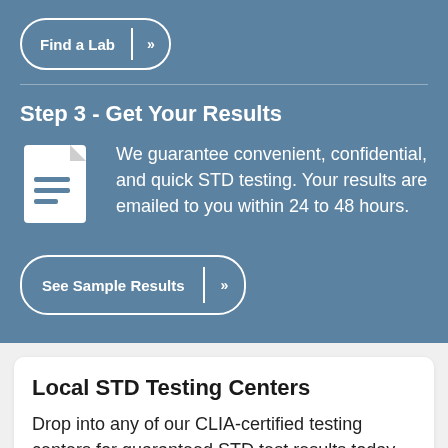Find a Lab »
Step 3 - Get Your Results
We guarantee convenient, confidential, and quick STD testing. Your results are emailed to you within 24 to 48 hours.
See Sample Results »
Local STD Testing Centers
Drop into any of our CLIA-certified testing centers for guaranteed STD test results today. You will complete our simple testing process in less than 5 minutes. No other testing service prices their STD